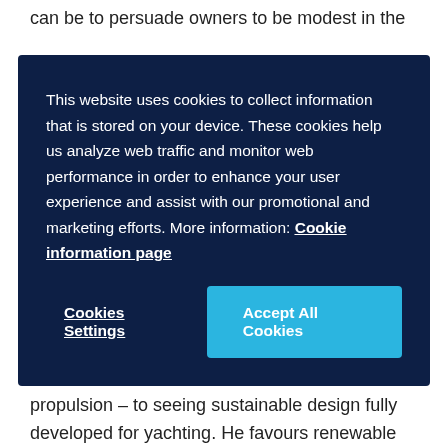can be to persuade owners to be modest in the
This website uses cookies to collect information that is stored on your device. These cookies help us analyze web traffic and monitor web performance in order to enhance your user experience and assist with our promotional and marketing efforts. More information: Cookie information page
Cookies Settings
Accept All Cookies
hybrid propulsion, which is already used for cars, trucks and trains, and believes there are three steps – peak shaving, silent propulsion and electric propulsion – to seeing sustainable design fully developed for yachting. He favours renewable